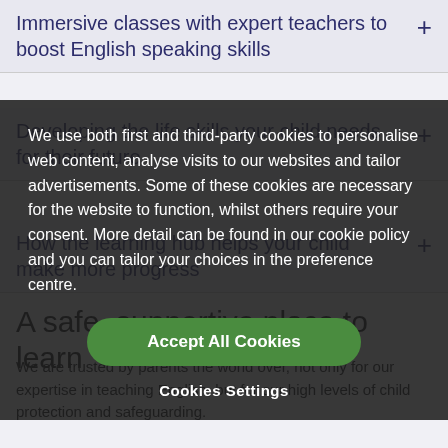Immersive classes with expert teachers to boost English speaking skills
Developing the life skills your child needs for their future
How the learning hub helps your child make more progress
A safe, supportive place to learn
We are trusted by parents the world over, not only for our expertise in teaching English, but for our high levels of child protection and safeguarding.
We use both first and third-party cookies to personalise web content, analyse visits to our websites and tailor advertisements. Some of these cookies are necessary for the website to function, whilst others require your consent. More detail can be found in our cookie policy and you can tailor your choices in the preference centre.
Accept All Cookies
Cookies Settings